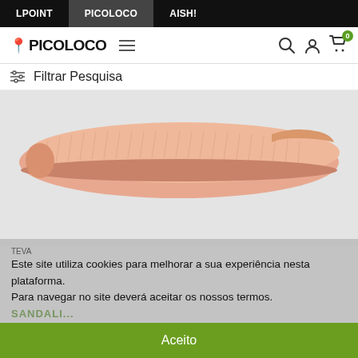LPOINT | PICOLOCO | AISH!
[Figure (logo): Picoloco logo with location pin icon, hamburger menu, search icon, user icon, and cart icon with green badge showing 0]
Filtrar Pesquisa
[Figure (photo): Close-up side view of a peach/salmon colored sandal on a light grey background]
TEVA
Este site utiliza cookies para melhorar a sua experiência nesta plataforma. Para navegar no site deverá aceitar os nossos termos.
SANDALI...
Aceito